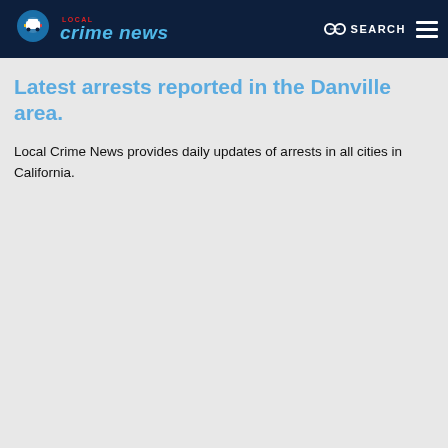Local Crime News — SEARCH
Latest arrests reported in the Danville area.
Local Crime News provides daily updates of arrests in all cities in California.